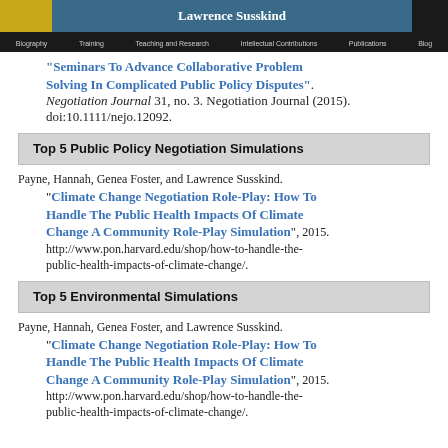Lawrence Susskind | City Planner, Mediator, and MIT Professor | Navigation: Biography, Training, Teaching and Research, Intellectual Contributions, Publications, Blog
Seminars To Advance Collaborative Problem Solving In Complicated Public Policy Disputes". Negotiation Journal 31, no. 3. Negotiation Journal (2015). doi:10.1111/nejo.12092.
Top 5 Public Policy Negotiation Simulations
Payne, Hannah, Genea Foster, and Lawrence Susskind. “Climate Change Negotiation Role-Play: How To Handle The Public Health Impacts Of Climate Change A Community Role-Play Simulation”, 2015. http://www.pon.harvard.edu/shop/how-to-handle-the-public-health-impacts-of-climate-change/.
Top 5 Environmental Simulations
Payne, Hannah, Genea Foster, and Lawrence Susskind. “Climate Change Negotiation Role-Play: How To Handle The Public Health Impacts Of Climate Change A Community Role-Play Simulation”, 2015. http://www.pon.harvard.edu/shop/how-to-handle-the-public-health-impacts-of-climate-change/.